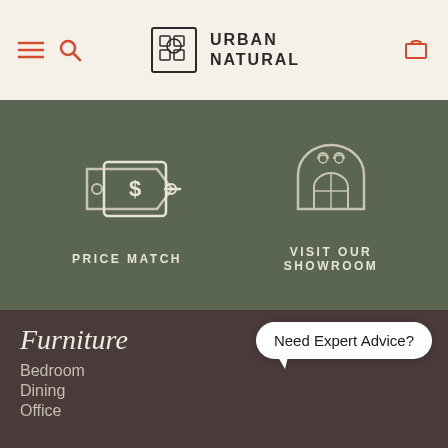URBAN NATURAL
[Figure (illustration): Price Match icon: two price tags with dollar sign symbol, white outline on green background, labeled PRICE MATCH]
[Figure (illustration): Visit Our Showroom icon: decorative arch/house with geometric pattern, white outline on green background, labeled VISIT OUR SHOWROOM]
Furniture
Bedroom
Dining
Office
Need Expert Advice?